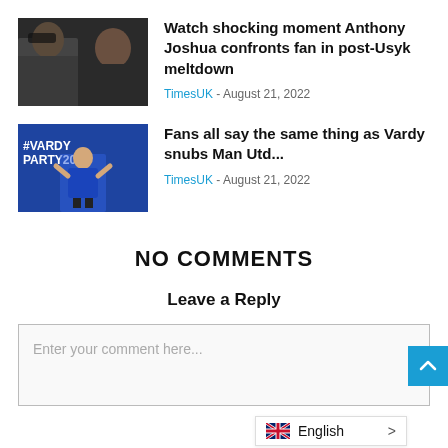[Figure (photo): Thumbnail image of Anthony Joshua confronting a fan, dark background]
Watch shocking moment Anthony Joshua confronts fan in post-Usyk meltdown
TimesUK - August 21, 2022
[Figure (photo): Thumbnail image of Jamie Vardy at #VardyParty2024 event in Leicester City kit]
Fans all say the same thing as Vardy snubs Man Utd...
TimesUK - August 21, 2022
NO COMMENTS
Leave a Reply
Enter your comment here...
English